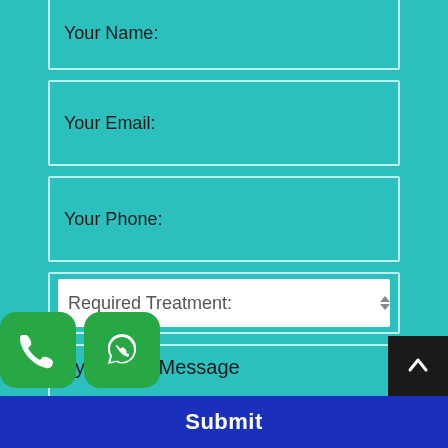Your Name:
Your Email:
Your Phone:
Required Treatment:
Type Your Message
[Figure (other): Phone call icon button (green rounded square with white phone handset)]
[Figure (other): WhatsApp icon button (green rounded square with white WhatsApp logo)]
[Figure (other): Scroll to top button (dark square with white upward chevron arrow)]
Submit